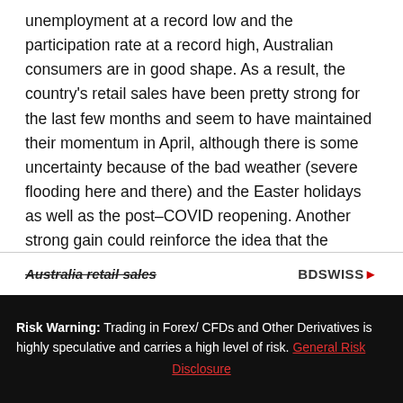unemployment at a record low and the participation rate at a record high, Australian consumers are in good shape. As a result, the country's retail sales have been pretty strong for the last few months and seem to have maintained their momentum in April, although there is some uncertainty because of the bad weather (severe flooding here and there) and the Easter holidays as well as the post–COVID reopening. Another strong gain could reinforce the idea that the economy is booming and the Reserve Bank of Australia will need to tighten further to get inflation expectations under control. AUD+
[Figure (other): Partial view of a chart titled 'Australia retail sales' with BDSWISS logo visible at top]
Risk Warning: Trading in Forex/ CFDs and Other Derivatives is highly speculative and carries a high level of risk. General Risk Disclosure